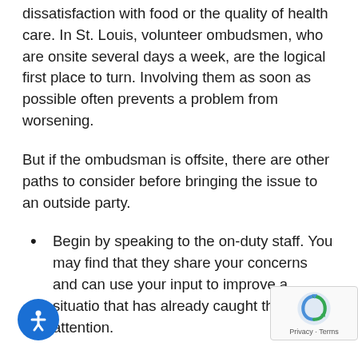dissatisfaction with food or the quality of health care. In St. Louis, volunteer ombudsmen, who are onsite several days a week, are the logical first place to turn. Involving them as soon as possible often prevents a problem from worsening.
But if the ombudsman is offsite, there are other paths to consider before bringing the issue to an outside party.
Begin by speaking to the on-duty staff. You may find that they share your concerns and can use your input to improve a situation that has already caught their attention.